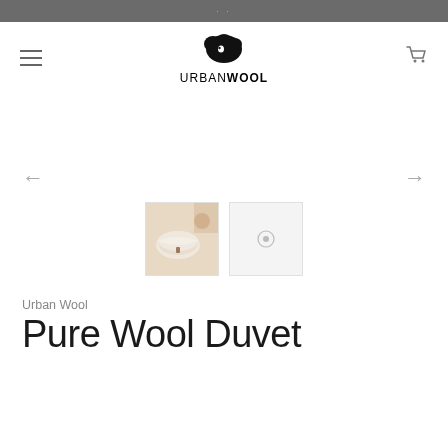Urban Wool - top navigation bar
[Figure (screenshot): Urban Wool logo with cloud/sheep icon above text URBANWOOL]
[Figure (photo): Product image carousel area with left/right arrows. Two thumbnail images: one showing rolled white wool duvet, one placeholder with small icon.]
Urban Wool
Pure Wool Duvet